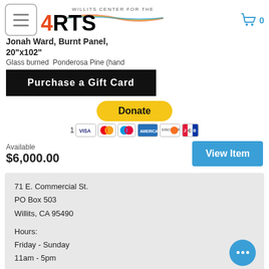Jonah Ward, Burnt Panel, 20"x102"
Glass burned  Ponderosa Pine (hand
Purchase a Gift Card
[Figure (logo): Willits Center for the Arts 4RTS logo with rainbow graphic, menu hamburger icon, and shopping cart icon showing 0 items]
Donate
1  [Payment card icons: Visa, Mastercard, Maestro, American Express, Discover, JCB]
Available
$6,000.00
View Item
71 E. Commercial St.
PO Box 503
Willits, CA 95490
Hours:
Friday - Sunday
11am - 5pm